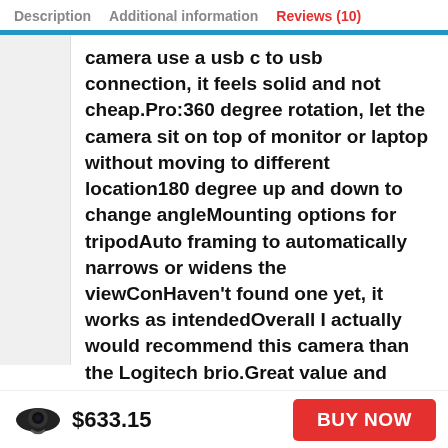Description   Additional information   Reviews (10)
camera use a usb c to usb connection, it feels solid and not cheap.Pro:360 degree rotation, let the camera sit on top of monitor or laptop without moving to different location180 degree up and down to change angleMounting options for tripodAuto framing to automatically narrows or widens the viewConHaven't found one yet, it works as intendedOverall I actually would recommend this camera than the Logitech brio.Great value and would recommend.
$633.15  BUY NOW